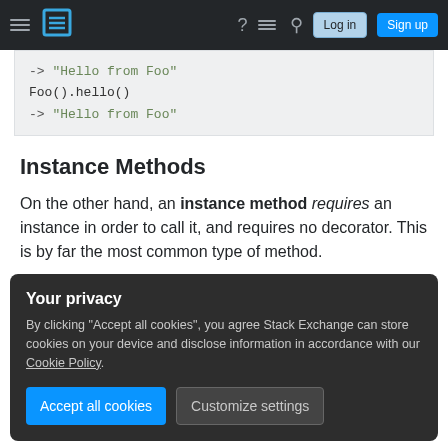Stack Exchange navigation bar with hamburger menu, logo, help, feedback, search icons, Log in and Sign up buttons
[Figure (screenshot): Code block showing: -> "Hello from Foo"  Foo().hello()  -> "Hello from Foo"]
Instance Methods
On the other hand, an instance method requires an instance in order to call it, and requires no decorator. This is by far the most common type of method.
Your privacy
By clicking "Accept all cookies", you agree Stack Exchange can store cookies on your device and disclose information in accordance with our Cookie Policy.
Accept all cookies  Customize settings
got a slightly different error).